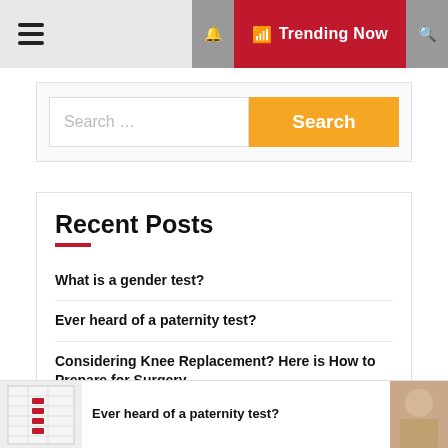☰  🔔 Trending Now 🔍
[Figure (screenshot): Search bar with text input and orange Search button]
Recent Posts
What is a gender test?
Ever heard of a paternity test?
Considering Knee Replacement? Here is How to Prepare for Surgery
Ever heard of a paternity test?